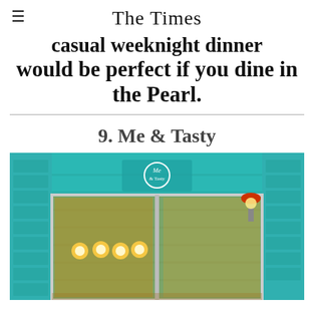The Times
casual weeknight dinner would be perfect if you dine in the Pearl.
9. Me & Tasty
[Figure (photo): Exterior storefront of Me & Tasty restaurant with teal/turquoise painted siding, large glass windows showing warm interior lighting with pendant bulb lights, and a circular logo sign above the entrance.]